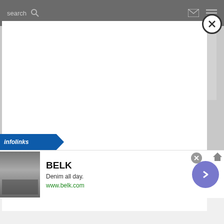search
Cheryl's: Cookie Delivery
we have an amazing variety of different
[Figure (screenshot): White modal/lightbox overlay on top of webpage content, with a close (x) button in the top-right corner]
[Figure (logo): Infolinks logo in blue diagonal banner]
[Figure (screenshot): Advertisement banner for BELK: Denim all day. www.belk.com, with fashion images on left and blue arrow button on right]